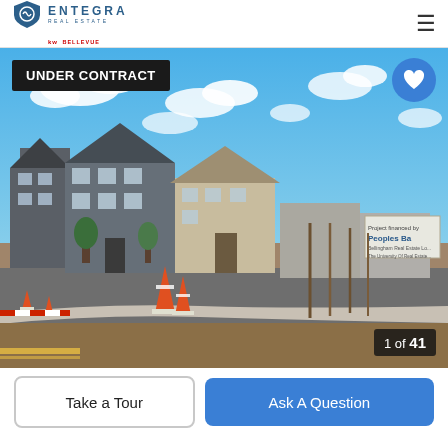[Figure (logo): Entegra Real Estate logo with shield icon and KW Bellevue sub-brand]
[Figure (photo): Newly constructed townhomes/residential properties under blue sky with clouds. Street scene showing gray and beige multi-story homes, orange construction cones, sidewalk, landscaping, and a Peoples Bank sign in the background. Badge reads UNDER CONTRACT. Counter shows 1 of 41.]
UNDER CONTRACT
1 of 41
Take a Tour
Ask A Question